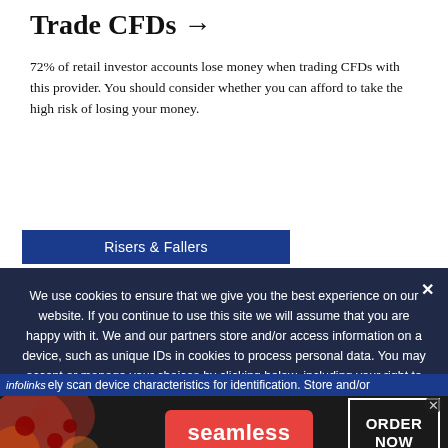Trade CFDs →
72% of retail investor accounts lose money when trading CFDs with this provider. You should consider whether you can afford to take the high risk of losing your money.
Risers & Fallers
We use cookies to ensure that we give you the best experience on our website. If you continue to use this site we will assume that you are happy with it. We and our partners store and/or access information on a device, such as unique IDs in cookies to process personal data. You may accept or manage your choices by clicking below, including your right to object where legitimate interest is used, or at any time in the privacy policy page. These choices will be signalled to our partners and will not affect browsing data. We and our partners process data to provide: Use precise geolocation data. ely scan device characteristics for identification. Store and/or
[Figure (screenshot): Advertisement banner for Seamless food delivery with pizza image, red Seamless button, and ORDER NOW box]